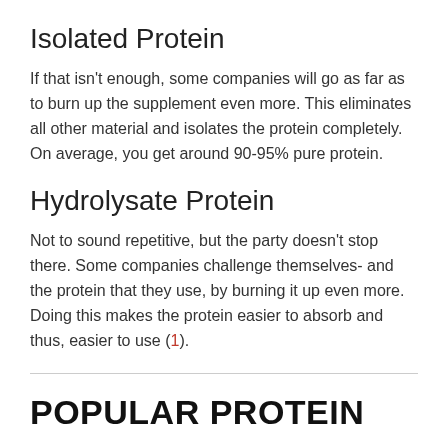Isolated Protein
If that isn't enough, some companies will go as far as to burn up the supplement even more. This eliminates all other material and isolates the protein completely. On average, you get around 90-95% pure protein.
Hydrolysate Protein
Not to sound repetitive, but the party doesn't stop there. Some companies challenge themselves- and the protein that they use, by burning it up even more. Doing this makes the protein easier to absorb and thus, easier to use (1).
POPULAR PROTEIN
Now that we've discussed the different types of protein, we can